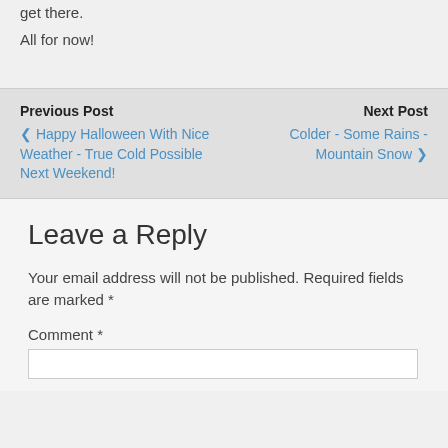get there.
All for now!
Previous Post
❮ Happy Halloween With Nice Weather - True Cold Possible Next Weekend!
Next Post
Colder - Some Rains - Mountain Snow ❯
Leave a Reply
Your email address will not be published. Required fields are marked *
Comment *